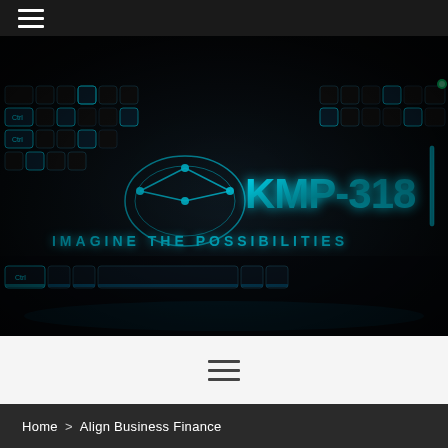Navigation menu (hamburger icon)
[Figure (photo): Dark-themed backlit gaming keyboard with blue/cyan illuminated keys, featuring a KMP-318 logo overlay with text 'IMAGINE THE POSSIBILITIES' in cyan/teal metallic font]
Navigation menu (hamburger icon, center)
Home > Align Business Finance